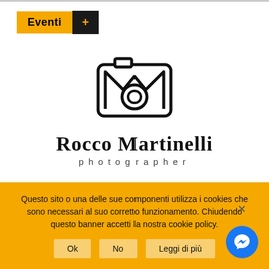Eventi +
[Figure (logo): Camera logo with stylized M shape and circular lens, representing Rocco Martinelli photographer brand]
Rocco Martinelli
photographer
10%
Questo sito o una delle sue componenti utilizza i cookies che sono necessari al suo corretto funzionamento. Chiudendo questo banner accetti la nostra cookie policy.
Ok   No   Leggi di più